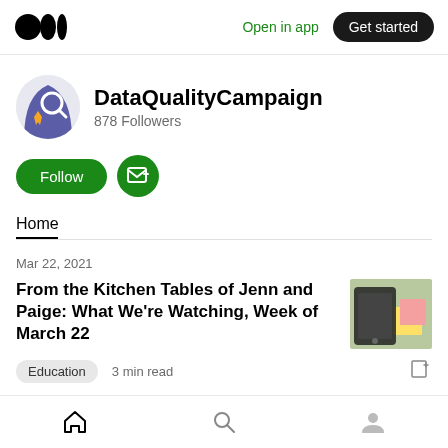Medium logo | Open in app | Get started
DataQualityCampaign
878 Followers
[Figure (illustration): Follow button (green pill) and email subscribe button (green circle with envelope icon)]
Home
Mar 22, 2021
From the Kitchen Tables of Jenn and Paige: What We're Watching, Week of March 22
[Figure (photo): Thumbnail photo showing a phone and sticky notes on a green background]
Education   3 min read
Home | Search | Profile